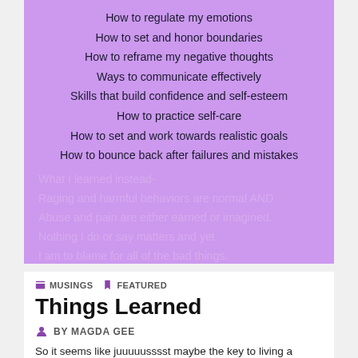[Figure (illustration): Purple background box with two sets of text: dark-colored lines listing things one should have learned (regulate emotions, set boundaries, etc.) and lighter/faded lavender lines showing what was learned instead (raging behaviors, abuse, blame).]
MUSINGS  FEATURED
Things Learned
BY MAGDA GEE
So it seems like juuuuusssst maybe the key to living a